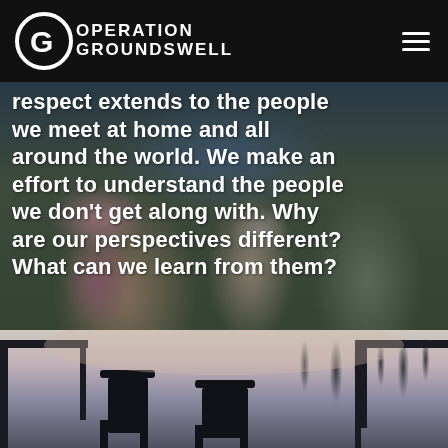Operation Groundswell
[Figure (photo): People sitting together and talking outdoors, with large bold white text overlaid reading: 'respect extends to the people we meet at home and all around the world. We make an effort to understand the people we don't get along with. Why are our perspectives different? What can we learn from them?']
[Figure (photo): Silhouette of chairs or bus seats against a dusky sky with bare trees in the background]